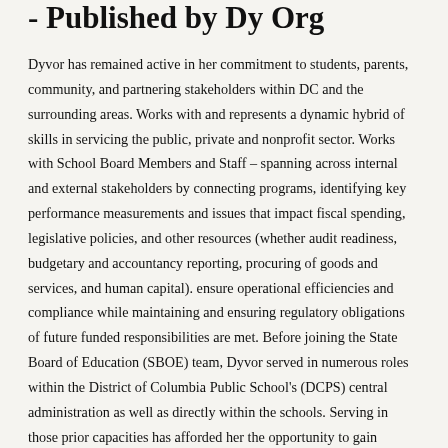- Published by Dy Org
Dyvor has remained active in her commitment to students, parents, community, and partnering stakeholders within DC and the surrounding areas. Works with and represents a dynamic hybrid of skills in servicing the public, private and nonprofit sector. Works with School Board Members and Staff – spanning across internal and external stakeholders by connecting programs, identifying key performance measurements and issues that impact fiscal spending, legislative policies, and other resources (whether audit readiness, budgetary and accountancy reporting, procuring of goods and services, and human capital). ensure operational efficiencies and compliance while maintaining and ensuring regulatory obligations of future funded responsibilities are met. Before joining the State Board of Education (SBOE) team, Dyvor served in numerous roles within the District of Columbia Public School's (DCPS) central administration as well as directly within the schools. Serving in those prior capacities has afforded her the opportunity to gain tremendous levels of experiences with analyzing and reporting on multiple program resources, school policies and